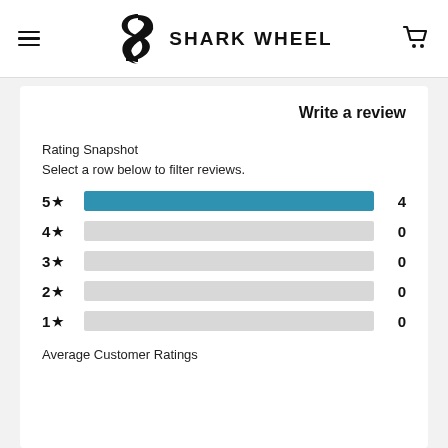SHARK WHEEL
Write a review
Rating Snapshot
Select a row below to filter reviews.
[Figure (bar-chart): Rating Snapshot]
Average Customer Ratings